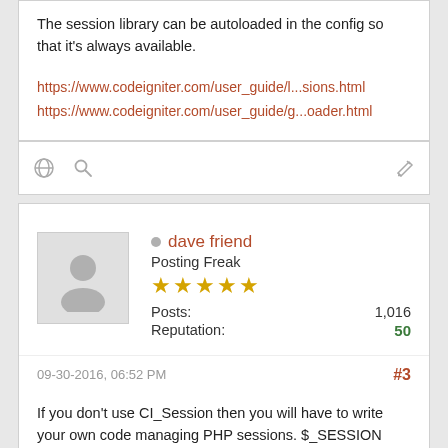The session library can be autoloaded in the config so that it's always available.
https://www.codeigniter.com/user_guide/l...sions.html
https://www.codeigniter.com/user_guide/g...oader.html
dave friend
Posting Freak
Posts: 1,016
Reputation: 50
09-30-2016, 06:52 PM
#3
If you don't use CI_Session then you will have to write your own code managing PHP sessions. $_SESSION isn't available until some code in your app makes a call to PHP's